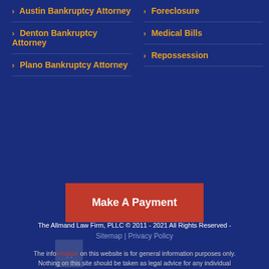Austin Bankruptcy Attorney
Denton Bankruptcy Attorney
Plano Bankruptcy Attorney
Foreclosure
Medical Bills
Repossession
Make A Payment
The Allmand Law Firm, PLLC © 2011 - 2021 All Rights Reserved - Sitemap | Privacy Policy
The information on this website is for general information purposes only. Nothing on this site should be taken as legal advice for any individual